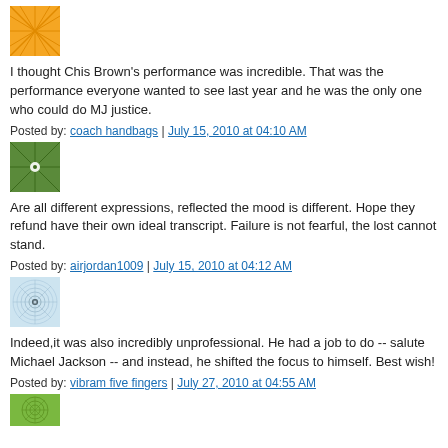[Figure (illustration): Orange abstract geometric pattern avatar]
I thought Chis Brown's performance was incredible. That was the performance everyone wanted to see last year and he was the only one who could do MJ justice.
Posted by: coach handbags | July 15, 2010 at 04:10 AM
[Figure (illustration): Green abstract geometric pattern avatar with star burst]
Are all different expressions, reflected the mood is different. Hope they refund have their own ideal transcript. Failure is not fearful, the lost cannot stand.
Posted by: airjordan1009 | July 15, 2010 at 04:12 AM
[Figure (illustration): Light blue circular spiral/mandala pattern avatar]
Indeed,it was also incredibly unprofessional. He had a job to do -- salute Michael Jackson -- and instead, he shifted the focus to himself. Best wish!
Posted by: vibram five fingers | July 27, 2010 at 04:55 AM
[Figure (illustration): Green sunburst/floral pattern avatar (partial)]